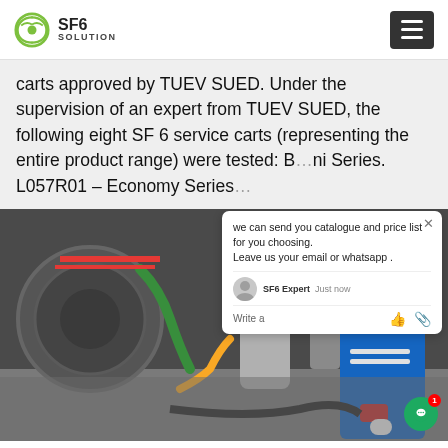SF6 SOLUTION
carts approved by TUEV SUED. Under the supervision of an expert from TUEV SUED, the following eight SF 6 service carts (representing the entire product range) were tested: B... ni Series. L057R01 – Economy Series...
[Figure (photo): A technician in a blue jumpsuit working on SF6 gas equipment, connecting a yellow hose to industrial gas handling machinery. Industrial equipment including cylindrical tanks and cables visible.]